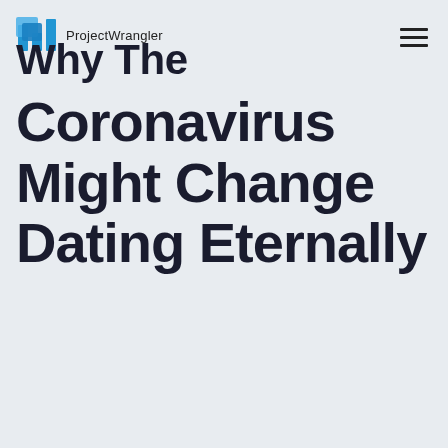ProjectWrangler
Why The Coronavirus Might Change Dating Eternally